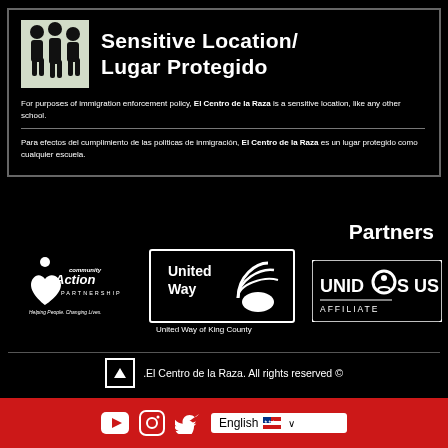[Figure (logo): Sensitive Location / Lugar Protegido sign with people icon logo, bilingual text in English and Spanish about El Centro de la Raza being a sensitive location like any other school]
Partners
[Figure (logo): Community Action Partnership logo - Helping People. Changing Lives.]
[Figure (logo): United Way of King County logo]
[Figure (logo): UnidosUS Affiliate logo]
.El Centro de la Raza. All rights reserved ©
[Figure (screenshot): Red footer bar with YouTube, Instagram, Twitter social icons and English language selector]